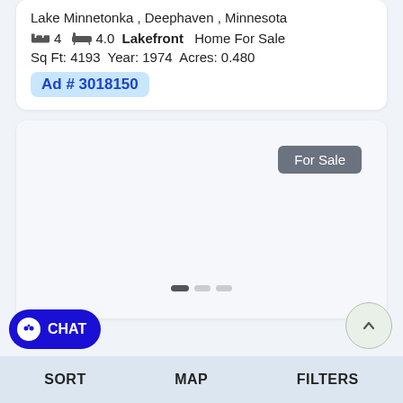Lake Minnetonka, Deephaven, Minnesota
4 [bed] 4.0 [bath] Lakefront Home For Sale
Sq Ft: 4193  Year: 1974  Acres: 0.480
Ad # 3018150
[Figure (photo): Property photo placeholder with For Sale badge and image carousel dots]
SORT   MAP   FILTERS